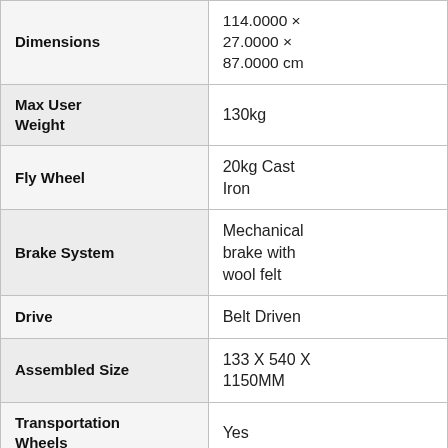| Attribute | Value |
| --- | --- |
| Dimensions | 114.0000 × 27.0000 × 87.0000 cm |
| Max User Weight | 130kg |
| Fly Wheel | 20kg Cast Iron |
| Brake System | Mechanical brake with wool felt |
| Drive | Belt Driven |
| Assembled Size | 133 X 540 X 1150MM |
| Transportation Wheels | Yes |
|  | Light |